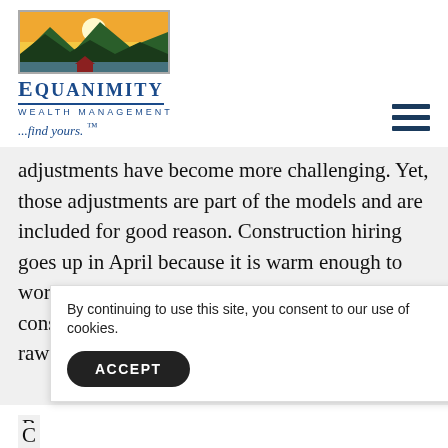[Figure (logo): Equanimity Wealth Management logo with mountain landscape and brand name]
adjustments have become more challenging. Yet, those adjustments are part of the models and are included for good reason. Construction hiring goes up in April because it is warm enough to work outside in colder states. It happens consistently enough that the model adjusts the raw data to improve comparisons between periods.
By continuing to use this site, you consent to our use of cookies.
ACCEPT